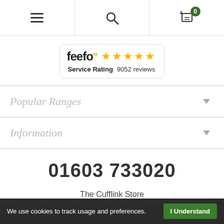Navigation bar with hamburger menu, search icon, and cart with 0 items
[Figure (logo): Feefo service rating badge showing 5 stars and 9052 reviews]
Popular Ranges
Information
01603 733020
The Cufflink Store
Viking Business Centre
5 Turnpike Close
Sweet Briar Park
Norwich, NR6 5BD
We use cookies to track usage and preferences. I Understand